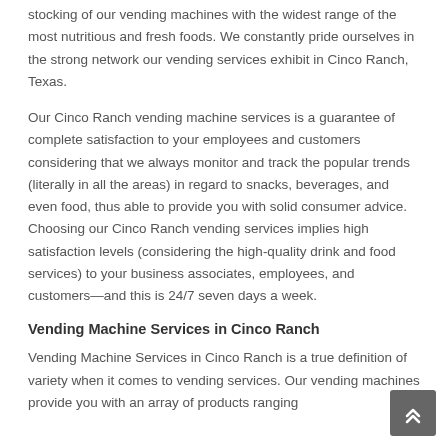stocking of our vending machines with the widest range of the most nutritious and fresh foods. We constantly pride ourselves in the strong network our vending services exhibit in Cinco Ranch, Texas.
Our Cinco Ranch vending machine services is a guarantee of complete satisfaction to your employees and customers considering that we always monitor and track the popular trends (literally in all the areas) in regard to snacks, beverages, and even food, thus able to provide you with solid consumer advice. Choosing our Cinco Ranch vending services implies high satisfaction levels (considering the high-quality drink and food services) to your business associates, employees, and customers—and this is 24/7 seven days a week.
Vending Machine Services in Cinco Ranch
Vending Machine Services in Cinco Ranch is a true definition of variety when it comes to vending services. Our vending machines provide you with an array of products ranging